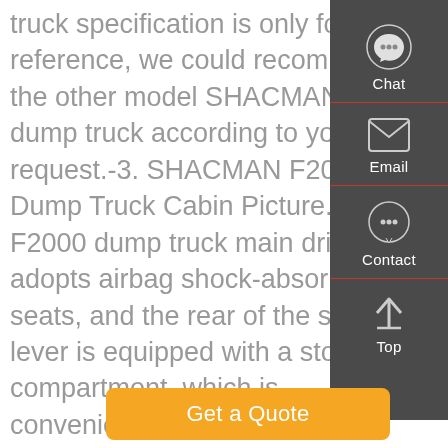truck specification is only for reference, we could recommend the other model SHACMAN dump truck according to your request.-3. SHACMAN F2000 Dump Truck Cabin Picture. F2000 dump truck main driver adopts airbag shock-absorbing seats, and the rear of the shift lever is equipped with a storage compartment, which is convenient for placing water cups and other …
[Figure (infographic): Side navigation panel with dark grey background containing Chat (headset icon), Email (envelope icon), Contact (speech bubble icon), and Top (up arrow icon) buttons with red divider lines between each.]
Get a Quote